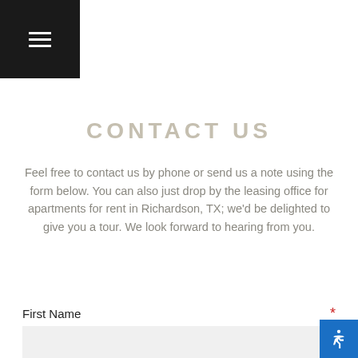Navigation menu button and header line
CONTACT US
Feel free to contact us by phone or send us a note using the form below. You can also just drop by the leasing office for apartments for rent in Richardson, TX; we'd be delighted to give you a tour. We look forward to hearing from you.
First Name *
Last Name *
Address